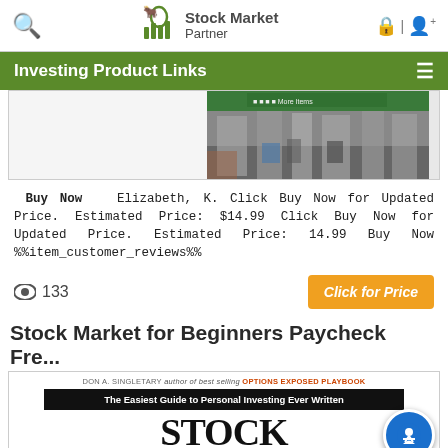Stock Market Partner — Investing Product Links
Investing Product Links
[Figure (photo): Blurred street scene with people walking near a building with green sign, appears to be financial district]
Buy Now   Elizabeth, K. Click Buy Now for Updated Price. Estimated Price: $14.99 Click Buy Now for Updated Price. Estimated Price: 14.99 Buy Now %%item_customer_reviews%%
133
Stock Market for Beginners Paycheck Fre...
[Figure (photo): Book cover: Stock Market for Beginners. Shows 'The Easiest Guide to Personal Investing Ever Written' and large text 'STOCK MARKET']